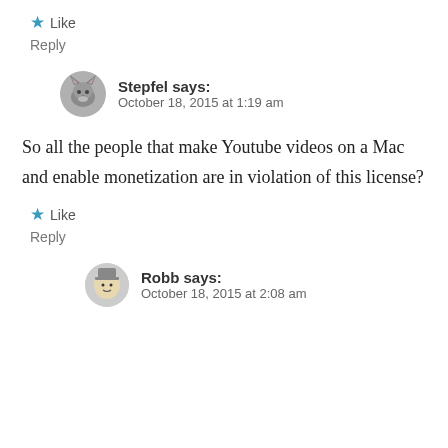★ Like
Reply
Stepfel says: October 18, 2015 at 1:19 am
So all the people that make Youtube videos on a Mac and enable monetization are in violation of this license?
★ Like
Reply
Robb says: October 18, 2015 at 2:08 am